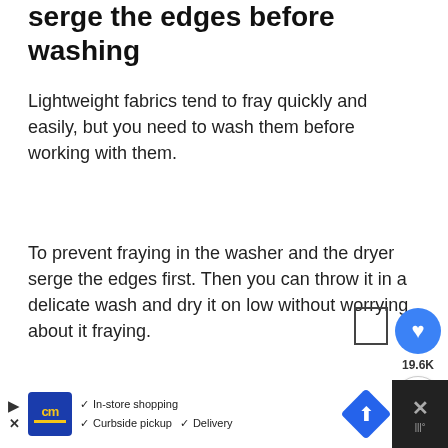serge the edges before washing
Lightweight fabrics tend to fray quickly and easily, but you need to wash them before working with them.
To prevent fraying in the washer and the dryer serge the edges first. Then you can throw it in a delicate wash and dry it on low without worrying about it fraying.
[Figure (photo): Pink fabric with white star pattern, serged edges, on white background]
[Figure (screenshot): WHAT'S NEXT overlay showing How To Sew Rolled Hem thumbnail]
[Figure (screenshot): Advertisement bar: CM store logo, In-store shopping, Curbside pickup, Delivery checkmarks, navigation arrow icon]